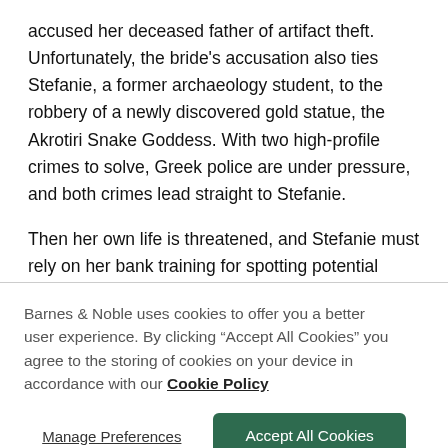accused her deceased father of artifact theft. Unfortunately, the bride's accusation also ties Stefanie, a former archaeology student, to the robbery of a newly discovered gold statue, the Akrotiri Snake Goddess. With two high-profile crimes to solve, Greek police are under pressure, and both crimes lead straight to Stefanie.
Then her own life is threatened, and Stefanie must rely on her bank training for spotting potential criminals to identify which of her fellow travelers is the real killer. Is it the new wealthy…
Read Full Overview ∨
Barnes & Noble uses cookies to offer you a better user experience. By clicking "Accept All Cookies" you agree to the storing of cookies on your device in accordance with our Cookie Policy
Manage Preferences
Accept All Cookies